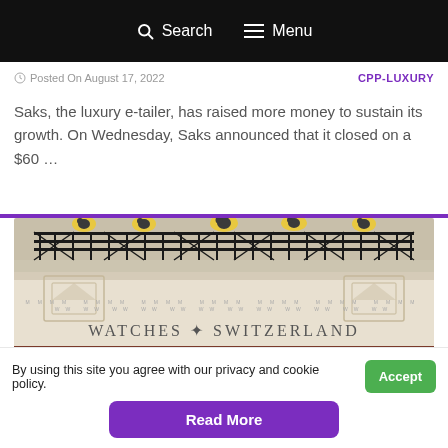Search  Menu
Posted On August 17, 2022   CPP-LUXURY
Saks, the luxury e-tailer, has raised more money to sustain its growth. On Wednesday, Saks announced that it closed on a $60 …
[Figure (photo): Exterior facade of a Watches of Switzerland store with decorative bird sculptures on the balcony railing]
By using this site you agree with our privacy and cookie policy.
Accept
Read More